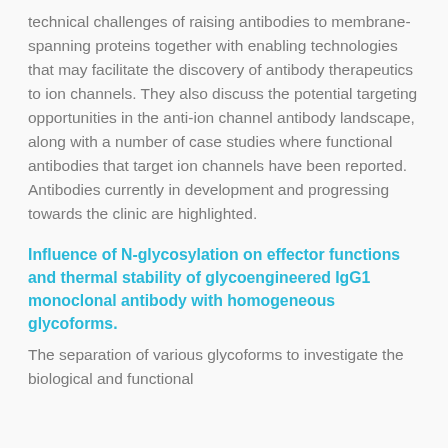technical challenges of raising antibodies to membrane-spanning proteins together with enabling technologies that may facilitate the discovery of antibody therapeutics to ion channels. They also discuss the potential targeting opportunities in the anti-ion channel antibody landscape, along with a number of case studies where functional antibodies that target ion channels have been reported. Antibodies currently in development and progressing towards the clinic are highlighted.
Influence of N-glycosylation on effector functions and thermal stability of glycoengineered IgG1 monoclonal antibody with homogeneous glycoforms.
The separation of various glycoforms to investigate the biological and functional...